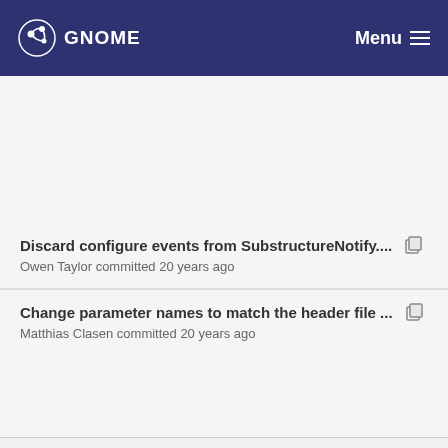GNOME  Menu
Discard configure events from SubstructureNotify....
Owen Taylor committed 20 years ago
Change parameter names to match the header file ...
Matthias Clasen committed 20 years ago